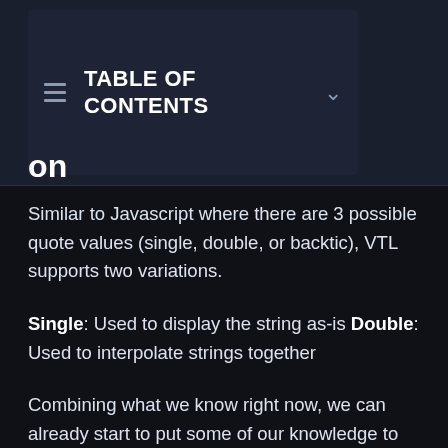[Figure (screenshot): Dark-themed TABLE OF CONTENTS navigation overlay with list icon and chevron dropdown arrow]
…on
Similar to Javascript where there are 3 possible quote values (single, double, or backtic), VTL supports two variations.
Single: Used to display the string as-is Double: Used to interpolate strings together
Combining what we know right now, we can already start to put some of our knowledge to use.